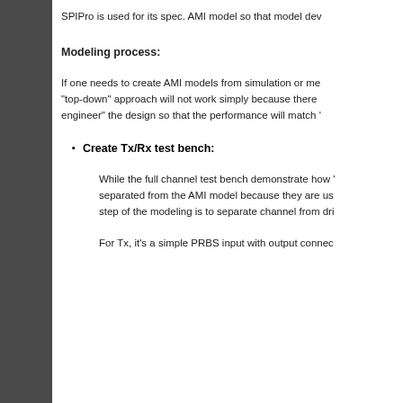SPIPro is used for its spec. AMI model so that model dev
Modeling process:
If one needs to create AMI models from simulation or me “top-down” approach will not work simply because there engineer” the design so that the performance will match ’
Create Tx/Rx test bench:
While the full channel test bench demonstrate how ’ separated from the AMI model because they are us step of the modeling is to separate channel from dri
For Tx, it’s a simple PRBS input with output connec